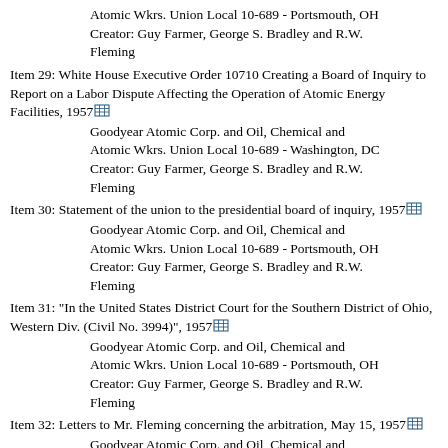Atomic Wkrs. Union Local 10-689 - Portsmouth, OH
Creator: Guy Farmer, George S. Bradley and R.W. Fleming
Item 29: White House Executive Order 10710 Creating a Board of Inquiry to Report on a Labor Dispute Affecting the Operation of Atomic Energy Facilities, 1957
Goodyear Atomic Corp. and Oil, Chemical and Atomic Wkrs. Union Local 10-689 - Washington, DC
Creator: Guy Farmer, George S. Bradley and R.W. Fleming
Item 30: Statement of the union to the presidential board of inquiry, 1957
Goodyear Atomic Corp. and Oil, Chemical and Atomic Wkrs. Union Local 10-689 - Portsmouth, OH
Creator: Guy Farmer, George S. Bradley and R.W. Fleming
Item 31: "In the United States District Court for the Southern District of Ohio, Western Div. (Civil No. 3994)", 1957
Goodyear Atomic Corp. and Oil, Chemical and Atomic Wkrs. Union Local 10-689 - Portsmouth, OH
Creator: Guy Farmer, George S. Bradley and R.W. Fleming
Item 32: Letters to Mr. Fleming concerning the arbitration, May 15, 1957
Goodyear Atomic Corp. and Oil, Chemical and